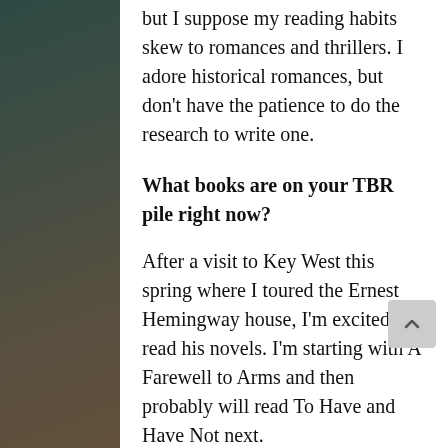but I suppose my reading habits skew to romances and thrillers. I adore historical romances, but don't have the patience to do the research to write one.
What books are on your TBR pile right now?
After a visit to Key West this spring where I toured the Ernest Hemingway house, I'm excited to read his novels. I'm starting with A Farewell to Arms and then probably will read To Have and Have Not next.
What scene in your book was